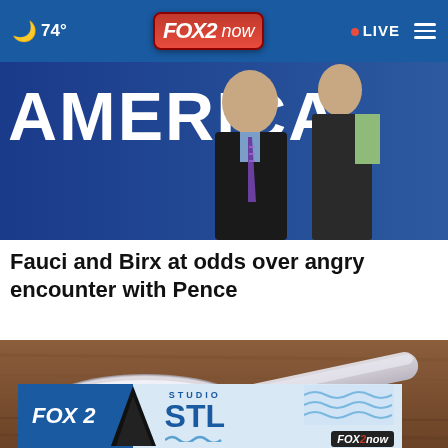74° FOX 2 now • LIVE
[Figure (photo): Background with large white text 'AMERICA' and two people in formal attire standing in front of a blue backdrop]
Fauci and Birx at odds over angry encounter with Pence
[Figure (photo): A measuring scoop filled with white powder resting on a wooden surface, with an advertisement banner overlay for FOX 2 Studio STL]